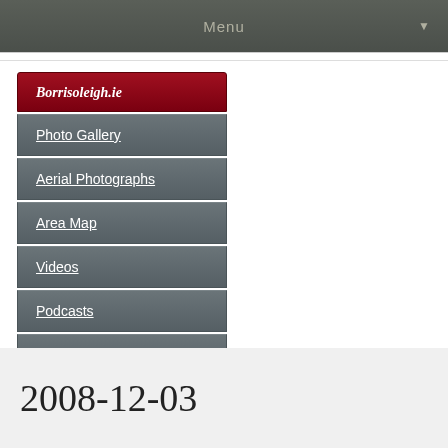Menu
Borrisoleigh.ie
Photo Gallery
Aerial Photographs
Area Map
Videos
Podcasts
Guestbook
Search
2008-12-03